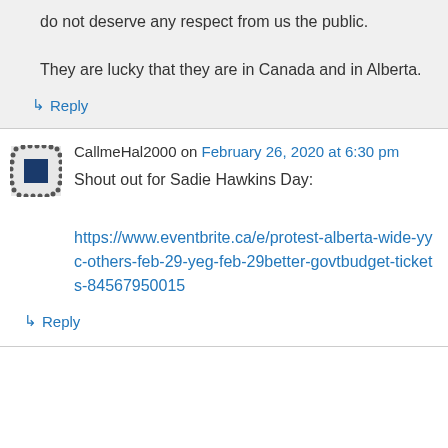do not deserve any respect from us the public.
They are lucky that they are in Canada and in Alberta.
↳ Reply
CallmeHal2000 on February 26, 2020 at 6:30 pm
Shout out for Sadie Hawkins Day:
https://www.eventbrite.ca/e/protest-alberta-wide-yyc-others-feb-29-yeg-feb-29better-govtbudget-tickets-84567950015
↳ Reply